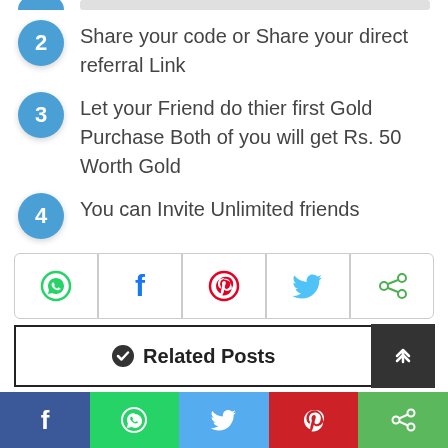2 Share your code or Share your direct referral Link
3 Let your Friend do thier first Gold Purchase Both of you will get Rs. 50 Worth Gold
4 You can Invite Unlimited friends
[Figure (infographic): Social share buttons row: WhatsApp (green), Facebook (blue), Pinterest (red), Twitter (blue), Share (green)]
[Figure (infographic): Related Posts bar with checkmark icon and dark arrow-up button on right]
[Figure (infographic): Bottom social share bar: Facebook (blue), WhatsApp (green), Twitter (blue-gray), Pinterest (red), Share (green)]